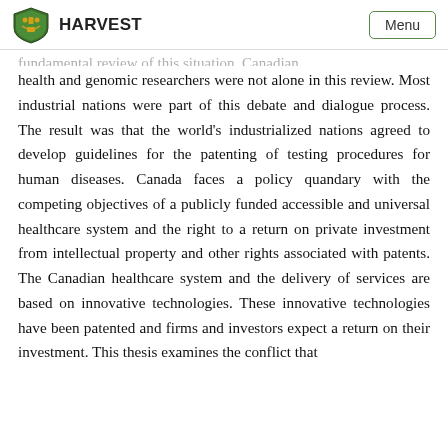HARVEST  Menu
health and genomic researchers were not alone in this review. Most industrial nations were part of this debate and dialogue process. The result was that the world's industrialized nations agreed to develop guidelines for the patenting of testing procedures for human diseases. Canada faces a policy quandary with the competing objectives of a publicly funded accessible and universal healthcare system and the right to a return on private investment from intellectual property and other rights associated with patents. The Canadian healthcare system and the delivery of services are based on innovative technologies. These innovative technologies have been patented and firms and investors expect a return on their investment. This thesis examines the conflict that